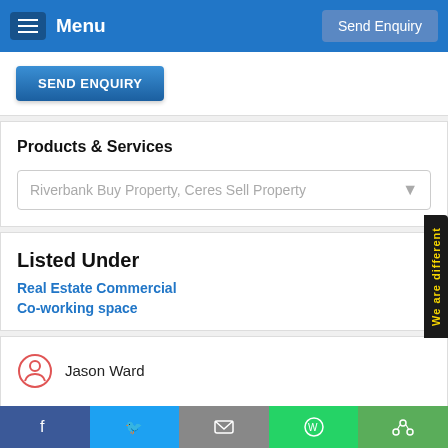Menu | Send Enquiry
SEND ENQUIRY
Products & Services
Riverbank Buy Property, Ceres Sell Property
Listed Under
Real Estate Commercial
Co-working space
Jason Ward
1356 Mitchell Rd Suite A, Modesto, CA 95351
Visit Website
Facebook | Twitter | Email | WhatsApp | Share